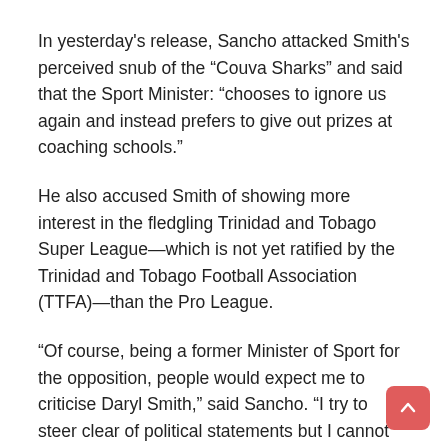In yesterday's release, Sancho attacked Smith's perceived snub of the “Couva Sharks” and said that the Sport Minister: “chooses to ignore us again and instead prefers to give out prizes at coaching schools.”
He also accused Smith of showing more interest in the fledgling Trinidad and Tobago Super League—which is not yet ratified by the Trinidad and Tobago Football Association (TTFA)—than the Pro League.
“Of course, being a former Minister of Sport for the opposition, people would expect me to criticise Daryl Smith,” said Sancho. “I try to steer clear of political statements but I cannot stay quiet any longer. As a former footballer, I am amazed that the Minister has never acknowledged the TT Pro League clubs.
“He has refused to meet individual clubs and has taken